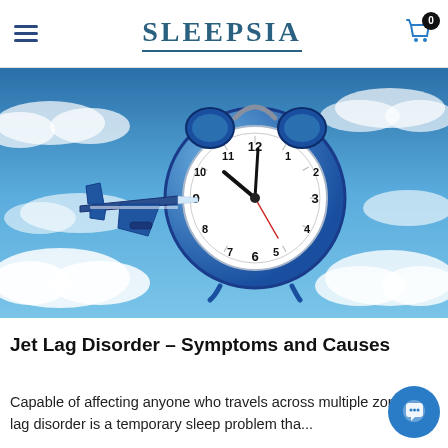Sleepsia
[Figure (illustration): Hero image showing a blue alarm clock and an airplane flying through a cloudy sky, symbolizing jet lag]
Jet Lag Disorder – Symptoms and Causes
Capable of affecting anyone who travels across multiple zones, jet lag disorder is a temporary sleep problem tha...